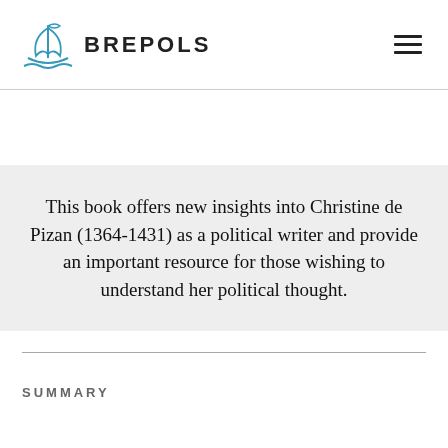BREPOLS
This book offers new insights into Christine de Pizan (1364-1431) as a political writer and provide an important resource for those wishing to understand her political thought.
SUMMARY